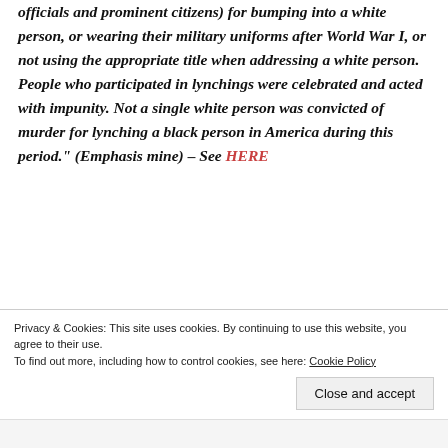officials and prominent citizens) for bumping into a white person, or wearing their military uniforms after World War I, or not using the appropriate title when addressing a white person. People who participated in lynchings were celebrated and acted with impunity. Not a single white person was convicted of murder for lynching a black person in America during this period." (Emphasis mine) – See HERE
Please read that last sentence again if you wonder why, as late great sports journalist Ralph
Privacy & Cookies: This site uses cookies. By continuing to use this website, you agree to their use. To find out more, including how to control cookies, see here: Cookie Policy
Close and accept